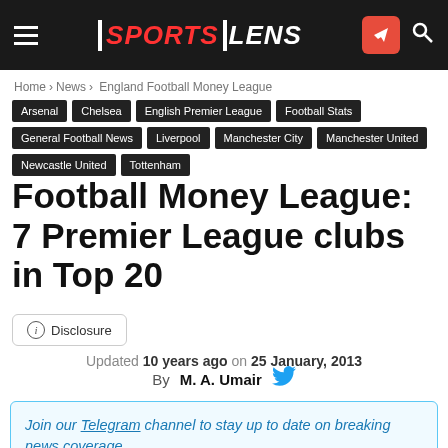SPORTS LENS
Home › News › England Football Money League
Arsenal
Chelsea
English Premier League
Football Stats
General Football News
Liverpool
Manchester City
Manchester United
Newcastle United
Tottenham
Football Money League: 7 Premier League clubs in Top 20
Disclosure
Updated 10 years ago on 25 January, 2013
By M. A. Umair
Join our Telegram channel to stay up to date on breaking news coverage